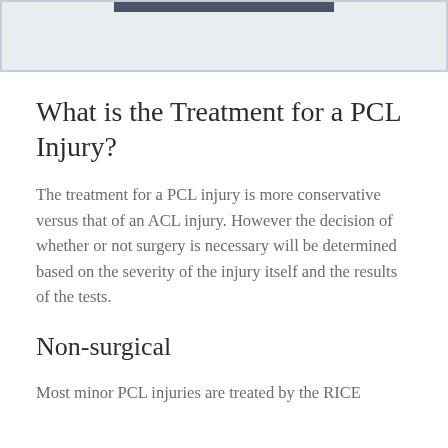[Figure (other): Partial image placeholder with dark bar at top and light blue background area]
What is the Treatment for a PCL Injury?
The treatment for a PCL injury is more conservative versus that of an ACL injury. However the decision of whether or not surgery is necessary will be determined based on the severity of the injury itself and the results of the tests.
Non-surgical
Most minor PCL injuries are treated by the RICE